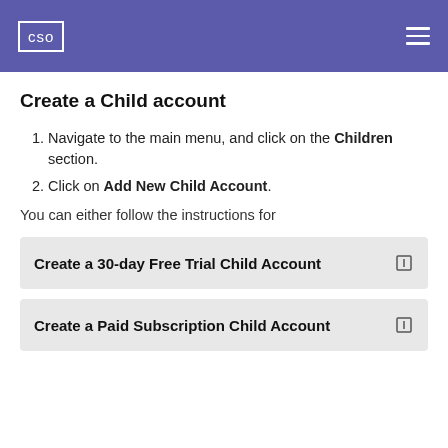CSO
Create a Child account
Navigate to the main menu, and click on the Children section.
Click on Add New Child Account.
You can either follow the instructions for
Create a 30-day Free Trial Child Account
Create a Paid Subscription Child Account